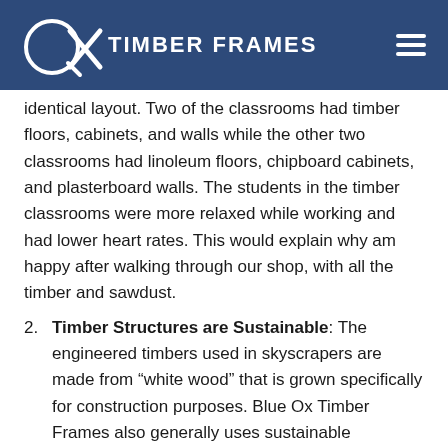Blue Ox Timber Frames
identical layout. Two of the classrooms had timber floors, cabinets, and walls while the other two classrooms had linoleum floors, chipboard cabinets, and plasterboard walls. The students in the timber classrooms were more relaxed while working and had lower heart rates. This would explain why am happy after walking through our shop, with all the timber and sawdust.
2. Timber Structures are Sustainable: The engineered timbers used in skyscrapers are made from “white wood” that is grown specifically for construction purposes. Blue Ox Timber Frames also generally uses sustainable harvested wood (Eastern White Pine, Douglas